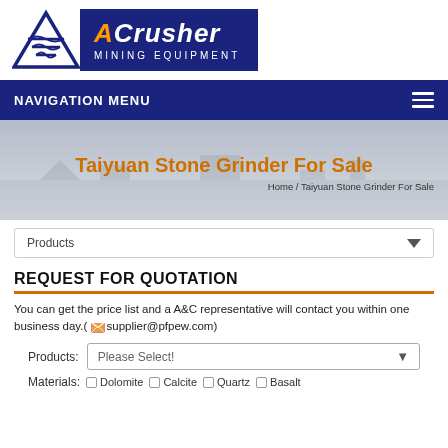[Figure (logo): ACrusher Mining Equipment logo with blue triangle symbol and navy blue banner]
NAVIGATION MENU
Taiyuan Stone Grinder For Sale
Home / Taiyuan Stone Grinder For Sale
Products
REQUEST FOR QUOTATION
You can get the price list and a A&C representative will contact you within one business day.(supplier@pfpew.com)
Products: Please Select!
Materials: Dolomite  Calcite  Quartz  Basalt